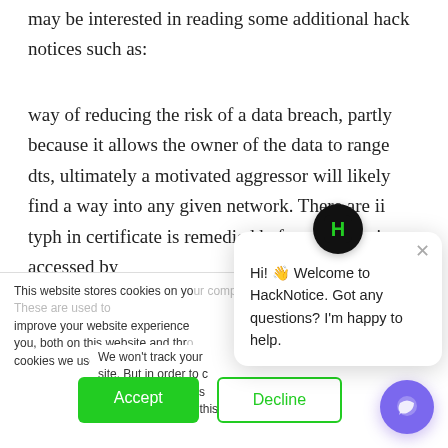may be interested in reading some additional hack notices such as:
way of reducing the risk of a data breach, partly because it allows the owner of the data to range dts, ultimately a motivated aggressor will likely find a way into any given network. There are ii typh in certificate is remedied before the info is accessed by
This website stores cookies on your computer. These are used to improve your website experience you, both on this website and through cookies we use, see our Privacy P...
We won't track your site. But in order to c... we'll have to use jus... not asked to make this choice again.
[Figure (screenshot): Chat popup with HackNotice logo and message: Hi! Welcome to HackNotice. Got any questions? I'm happy to help.]
Hi! 👋 Welcome to HackNotice. Got any questions? I'm happy to help.
Accept
Decline